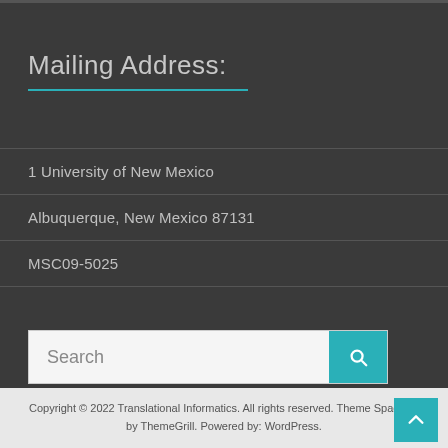Mailing Address:
1 University of New Mexico
Albuquerque, New Mexico 87131
MSC09-5025
Search
Copyright © 2022 Translational Informatics. All rights reserved. Theme Spacious by ThemeGrill. Powered by: WordPress.